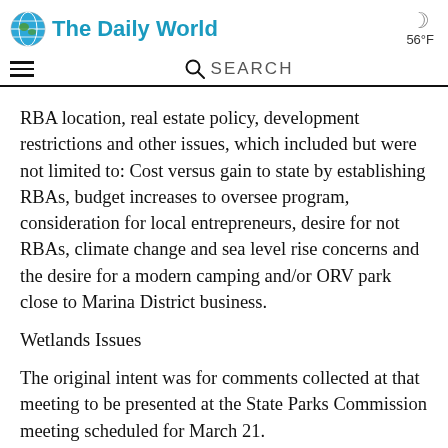The Daily World — 56°F
RBA location, real estate policy, development restrictions and other issues, which included but were not limited to: Cost versus gain to state by establishing RBAs, budget increases to oversee program, consideration for local entrepreneurs, desire for not RBAs, climate change and sea level rise concerns and the desire for a modern camping and/or ORV park close to Marina District business.
Wetlands Issues
The original intent was for comments collected at that meeting to be presented at the State Parks Commission meeting scheduled for March 21.